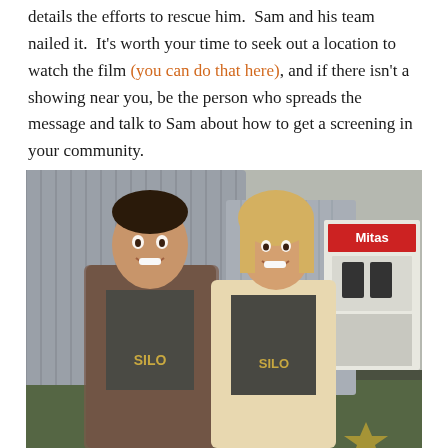details the efforts to rescue him.  Sam and his team nailed it.  It's worth your time to seek out a location to watch the film (you can do that here), and if there isn't a showing near you, be the person who spreads the message and talk to Sam about how to get a screening in your community.
[Figure (photo): Two people standing together smiling, both wearing dark gray 'SILO' branded t-shirts. The man on the left has dark hair and a plaid shirt over his t-shirt; the woman on the right has blonde hair and a cream/white cardigan. Background shows large corrugated metal grain silos and a 'Mitas' branded display booth at what appears to be an agricultural trade show.]